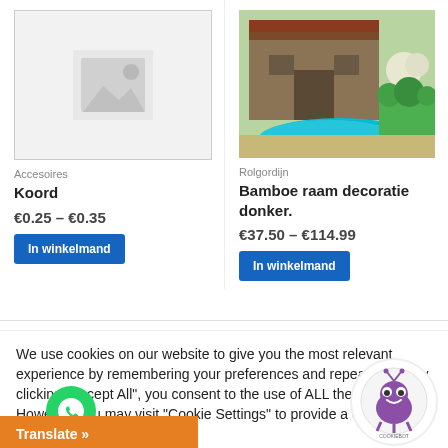[Figure (photo): Placeholder image (grey background with mountain/image icon)]
[Figure (photo): Photo of a rustic barn/house with a swimming pool and garden]
Accesoires
Rolgordijn
Koord
Bamboe raam decoratie donker.
€0.25 – €0.35
€37.50 – €114.99
In winkelmand
In winkelmand
We use cookies on our website to give you the most relevant experience by remembering your preferences and repeat visits. By clicking "Accept All", you consent to the use of ALL the cookies. However, you may visit "Cookie Settings" to provide a controlled consent.
Cookie Settings
Accept All
Translate »